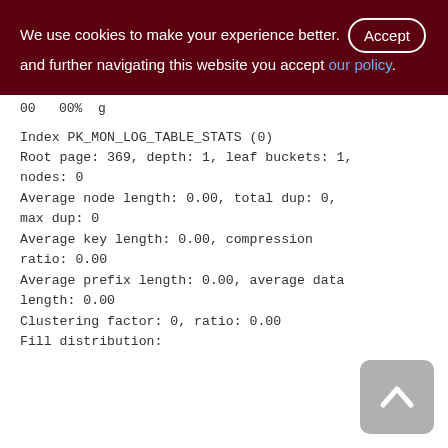We use cookies to make your experience better. By accepting and further navigating this website you accept our policy.
Index PK_MON_LOG_TABLE_STATS (0)
Root page: 369, depth: 1, leaf buckets: 1, nodes: 0
Average node length: 0.00, total dup: 0, max dup: 0
Average key length: 0.00, compression ratio: 0.00
Average prefix length: 0.00, average data length: 0.00
Clustering factor: 0, ratio: 0.00
Fill distribution: